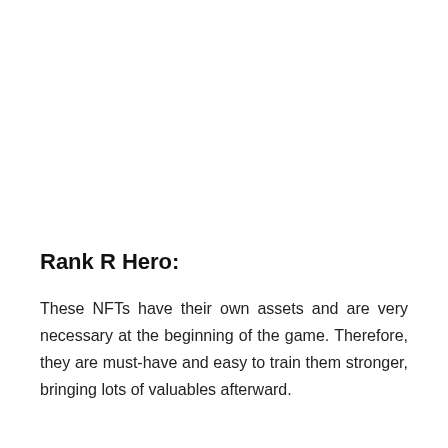Rank R Hero:
These NFTs have their own assets and are very necessary at the beginning of the game. Therefore, they are must-have and easy to train them stronger, bringing lots of valuables afterward.